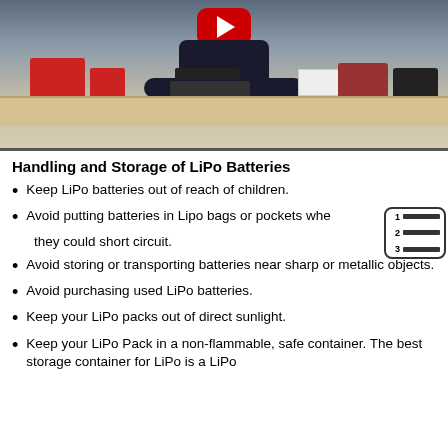[Figure (screenshot): YouTube video thumbnail showing a person at a workbench with LiPo batteries and chargers, with a YouTube play button overlay at the top]
Handling and Storage of LiPo Batteries
Keep LiPo batteries out of reach of children.
Avoid putting batteries in Lipo bags or pockets where they could short circuit.
Avoid storing or transporting batteries near sharp or metallic objects.
Avoid purchasing used LiPo batteries.
Keep your LiPo packs out of direct sunlight.
Keep your LiPo Pack in a non-flammable, safe container. The best storage container for LiPo is a LiPo